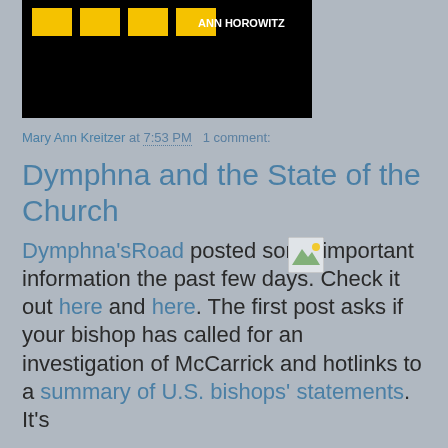[Figure (photo): Black banner/header image with yellow text and logo, partially cropped at top]
Mary Ann Kreitzer at 7:53 PM   1 comment:
Dymphna and the State of the Church
Dymphna'sRoad posted some important information the past few days. Check it out here and here. The first post asks if your bishop has called for an investigation of McCarrick and hotlinks to a summary of U.S. bishops' statements. It's
[Figure (photo): Small thumbnail image placeholder]
Thank you, Archbishop Vigano!